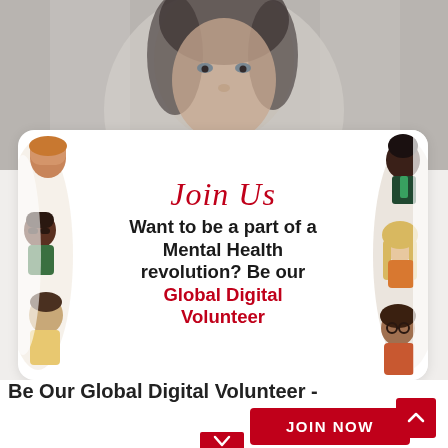[Figure (photo): Blurred photo of a woman's face in the upper portion of the page, serving as background.]
[Figure (illustration): Illustrated diverse group of people (various skin tones, hair styles) arranged on the left and right sides of a white card. Decorative paint brush strokes in white and tan behind the card.]
Join Us
Want to be a part of a Mental Health revolution? Be our Global Digital Volunteer
Be Our Global Digital Volunteer -
JOIN NOW